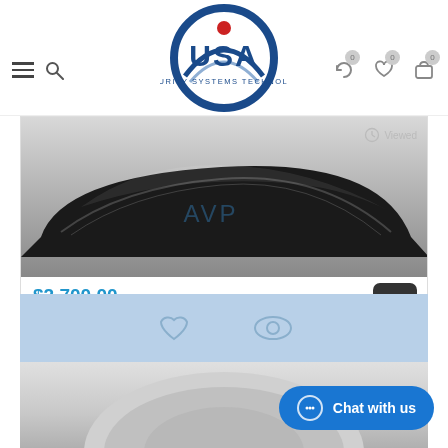[Figure (logo): USA Security Systems Technology circular logo with red dot and blue ring]
[Figure (photo): AVP black device hardware product photo, top-down close up]
$2,700.00
AVP-USB3-PTZ AVP HD Color PTZ Video Conf...
[Figure (screenshot): Light blue action bar with heart and eye icons]
[Figure (photo): Bottom partial product image, gray/silver dome camera]
Chat with us